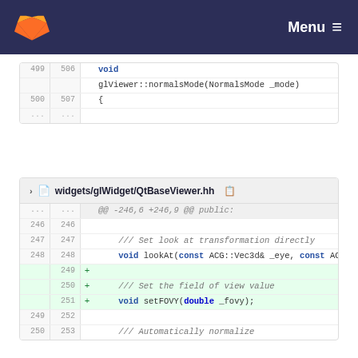Menu
499  506  void glViewer::normalsMode(NormalsMode _mode)
500  507  {
...  ...
widgets/glWidget/QtBaseViewer.hh
...  ...  @@ -246,6 +246,9 @@ public:
246  246
247  247  /// Set look at transformation directly
248  248  void lookAt(const ACG::Vec3d& _eye, const ACG::Vec3d& _center, const ACG::Vec3d& _up);
     249  +
     250  +  /// Set the field of view value
     251  +  void setFOVY(double _fovy);
249  252
250  253  /// Automatically normalize